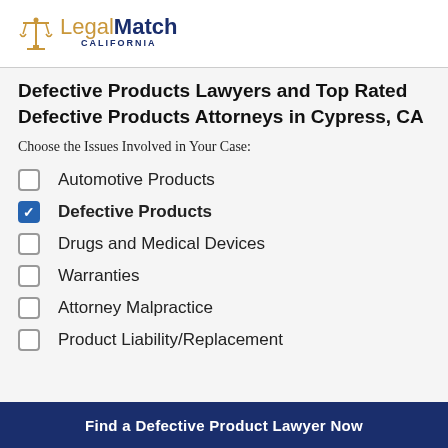[Figure (logo): LegalMatch California logo with scales of justice icon in gold, 'Legal' in gold and 'Match' in dark navy bold, 'CALIFORNIA' in small caps below]
Defective Products Lawyers and Top Rated Defective Products Attorneys in Cypress, CA
Choose the Issues Involved in Your Case:
Automotive Products (unchecked)
Defective Products (checked)
Drugs and Medical Devices (unchecked)
Warranties (unchecked)
Attorney Malpractice (unchecked)
Product Liability/Replacement (unchecked)
Find a Defective Product Lawyer Now